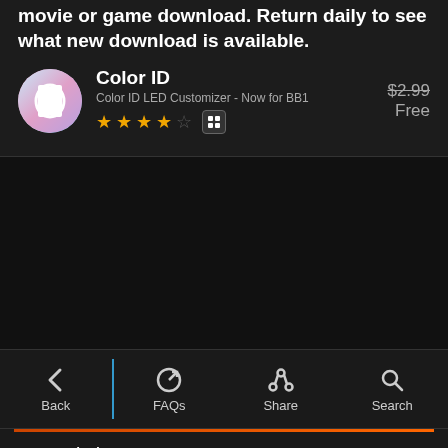movie or game download. Return daily to see what new download is available.
[Figure (screenshot): App listing for Color ID - Color ID LED Customizer, rated 3.5 stars, priced $2.99, now Free]
[Figure (screenshot): Navigation bar with Back, FAQs, Share, Search icons]
Posted via my ZED10
12-05-13 02:26 PM